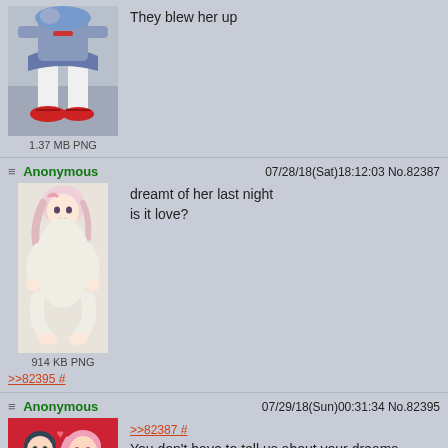[Figure (illustration): Anime character lower body, red shoes, white stockings, sitting]
1.37 MB PNG
They blew her up
Anonymous   07/28/18(Sat)18:12:03 No.82387
[Figure (illustration): Anime girl in white dress sitting down, pink hair]
914 KB PNG
dreamt of her last night
is it love?
>>82395 #
Anonymous   07/29/18(Sun)00:31:34 No.82395
[Figure (illustration): Two anime characters on red background, one with pink hair and one with dark hair]
>>82387 #
You don't have to tell us about your dreams everytime Hiro.